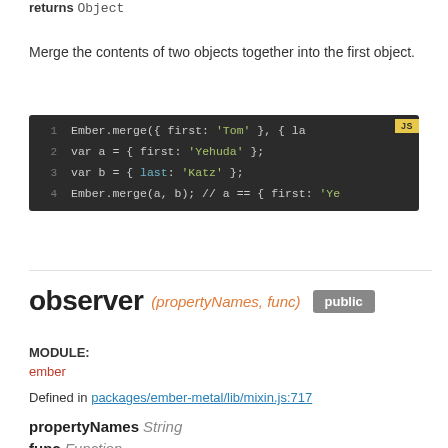returns Object
Merge the contents of two objects together into the first object.
[Figure (screenshot): Code block showing Ember.merge usage in JavaScript with line numbers 1-4. Line 1: Ember.merge({ first: 'Tom' }, { la... with JS badge. Line 2: var a = { first: 'Yehuda' }; Line 3: var b = { last: 'Katz' }; Line 4: Ember.merge(a, b); // a == { first: 'Ye]
observer (propertyNames, func) public
MODULE:
ember
Defined in packages/ember-metal/lib/mixin.js:717
propertyNames String
func Function